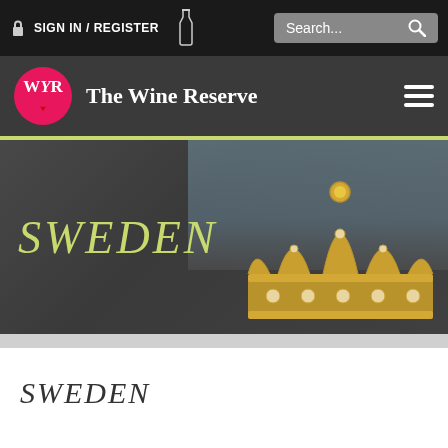SIGN IN / REGISTER  Search...
[Figure (logo): The Wine Reserve logo with WYR pink circle and site name in white serif font on dark background, hamburger menu icon on right]
[Figure (photo): Hero banner with chalkboard background showing SWEDEN in lime-green italic text and a gold crown ornament on the right side]
SWEDEN